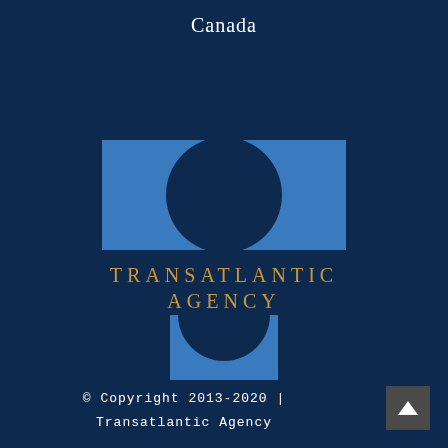Canada
[Figure (logo): Transatlantic Agency logo: a T-shaped design using medium blue rectangles and a dark navy circle cutout, with the text TRANSATLANTIC AGENCY in gold/amber lettering below and above a bottom blue rectangle.]
© Copyright 2013-2020 | Transatlantic Agency